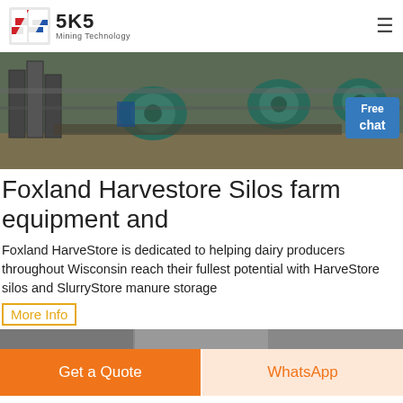SKS Mining Technology
[Figure (photo): Industrial machinery/motors in a warehouse or factory setting, with green electric motors mounted on metal frames.]
Foxland Harvestore Silos farm equipment and
Foxland HarveStore is dedicated to helping dairy producers throughout Wisconsin reach their fullest potential with HarveStore silos and SlurryStore manure storage
More Info
[Figure (photo): Bottom strip of a photo showing farm-related equipment or scenery.]
Get a Quote
WhatsApp